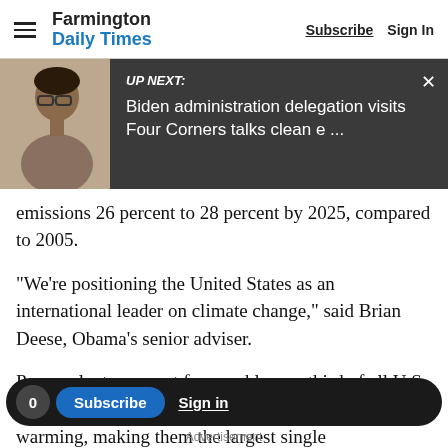Farmington Daily Times — Subscribe | Sign In
[Figure (screenshot): UP NEXT banner overlay with person photo on left and dark gray panel showing: UP NEXT: Biden administration delegation visits Four Corners talks clean e ... with X close button]
emissions 26 percent to 28 percent by 2025, compared to 2005.
"We're positioning the United States as an international leader on climate change," said Brian Deese, Obama's senior adviser.
Power plants account for roughly one-third of all U.S. emissions of the heat-trapping gases blamed for global warming, making them the largest single
0 Subscribe Sign in — Advertisement